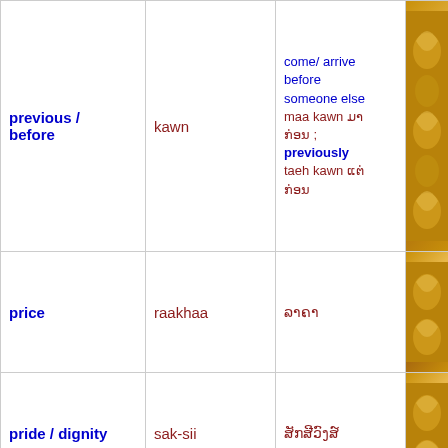| English | Romanization | Thai Script | Image |
| --- | --- | --- | --- |
| previous / before | kawn | come/ arrive before someone else
maa kawn ມາກ່ອນ ; previously taeh kawn ແຕ່ກ່ອນ |  |
| price | raakhaa | ລາຄາ |  |
| pride / dignity | sak-sii | ສັກສີວົງສ໌ |  |
| priest (Christian) | baat luang | ບາດຫລວງ |  |